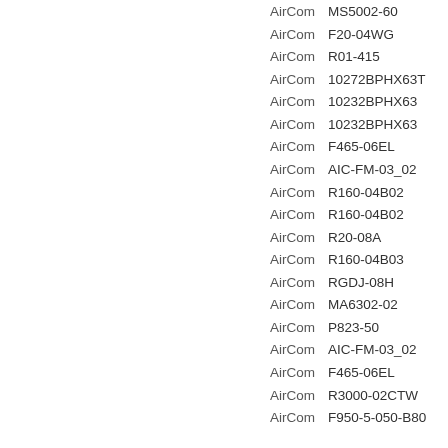AirCom MS5002-60
AirCom F20-04WG
AirCom R01-415
AirCom 10272BPHX63T
AirCom 10232BPHX63
AirCom 10232BPHX63
AirCom F465-06EL
AirCom AIC-FM-03_02
AirCom R160-04B02
AirCom R160-04B02
AirCom R20-08A
AirCom R160-04B03
AirCom RGDJ-08H
AirCom MA6302-02
AirCom P823-50
AirCom AIC-FM-03_02
AirCom F465-06EL
AirCom R3000-02CTW
AirCom F950-5-050-B80